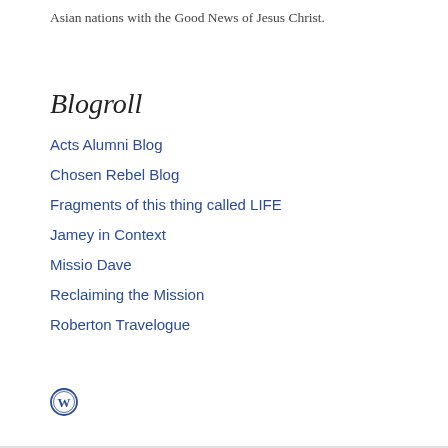Asian nations with the Good News of Jesus Christ.
Blogroll
Acts Alumni Blog
Chosen Rebel Blog
Fragments of this thing called LIFE
Jamey in Context
Missio Dave
Reclaiming the Mission
Roberton Travelogue
[Figure (logo): WordPress logo icon]